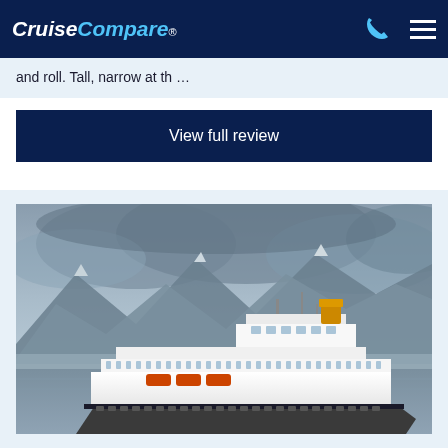CruiseCompare®
and roll. Tall, narrow at th …
View full review
[Figure (photo): A large white cruise ship photographed in front of a dramatic background of dark, cloudy mountains with snow-capped peaks. The ship has multiple decks visible with rows of cabin windows and balconies. The scene suggests an Alaskan or Nordic fjord setting with misty, overcast skies.]